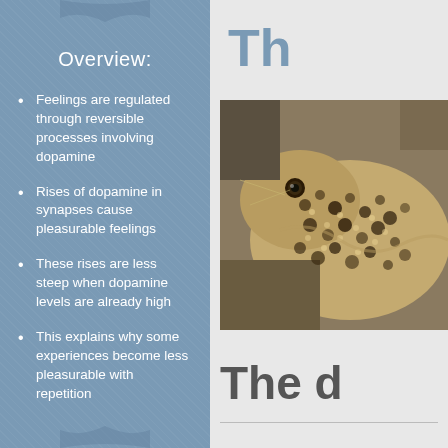Overview:
Feelings are regulated through reversible processes involving dopamine
Rises of dopamine in synapses cause pleasurable feelings
These rises are less steep when dopamine levels are already high
This explains why some experiences become less pleasurable with repetition
[Figure (photo): Close-up photograph of a lizard (monitor lizard or similar reptile) showing detailed scale patterns in brown, tan and black colors]
Th
The d